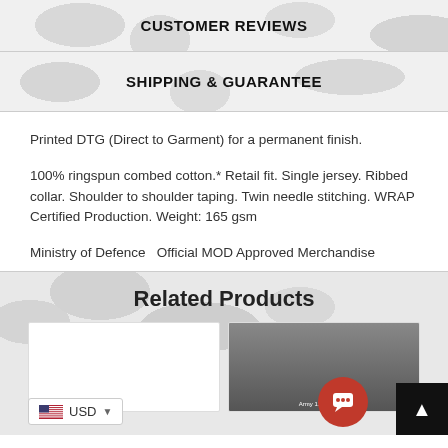CUSTOMER REVIEWS
SHIPPING & GUARANTEE
Printed DTG (Direct to Garment) for a permanent finish.
100% ringspun combed cotton.* Retail fit. Single jersey. Ribbed collar. Shoulder to shoulder taping. Twin needle stitching. WRAP Certified Production. Weight: 165 gsm
Ministry of Defence  Official MOD Approved Merchandise
Related Products
[Figure (photo): Product card placeholder - white box]
[Figure (photo): Product card with hat image in dark colors with Army 1157 Kit Cap text visible]